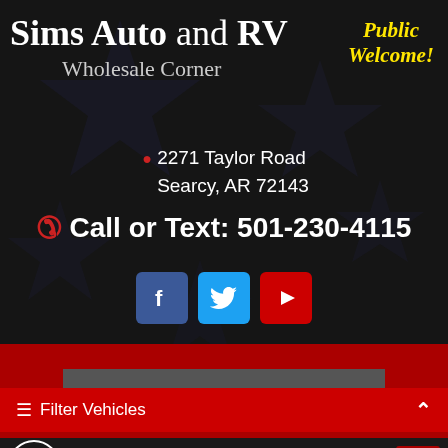Sims Auto and RV Wholesale Corner
Public Welcome!
📍 2271 Taylor Road
Searcy, AR 72143
Call or Text: 501-230-4115
[Figure (infographic): Social media icons: Facebook (blue), Twitter (light blue), YouTube (red)]
SITE MENU
≡ Filter Vehicles
Page: 1 of 1 (45 vehicles)